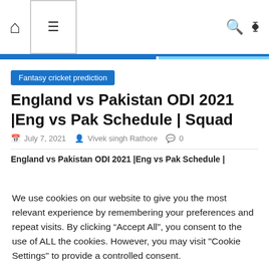Navigation bar with home icon, hamburger menu, search icon, and shuffle icon
Fantasy cricket prediction
England vs Pakistan ODI 2021 |Eng vs Pak Schedule | Squad
July 7, 2021  Vivek singh Rathore  0
England vs Pakistan ODI 2021 |Eng vs Pak Schedule |
We use cookies on our website to give you the most relevant experience by remembering your preferences and repeat visits. By clicking “Accept All”, you consent to the use of ALL the cookies. However, you may visit "Cookie Settings" to provide a controlled consent.
Cookie Settings   Accept All